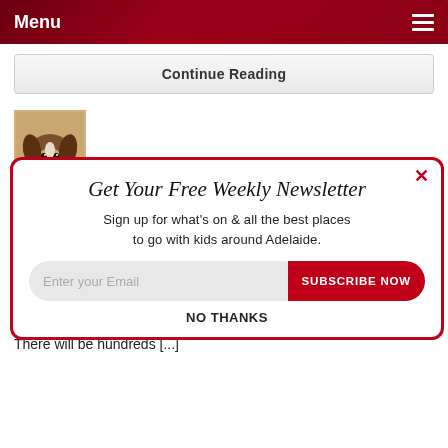Menu
Continue Reading
Get Your Free Weekly Newsletter
Sign up for what's on & all the best places to go with kids around Adelaide.
Enter your Email   SUBSCRIBE NOW
NO THANKS
Expo
The a[...]
Showground with plenty of animals to see touch and cuddle, a kids activity zone and a large walk through animal nursery.
There will be hundreds [...]